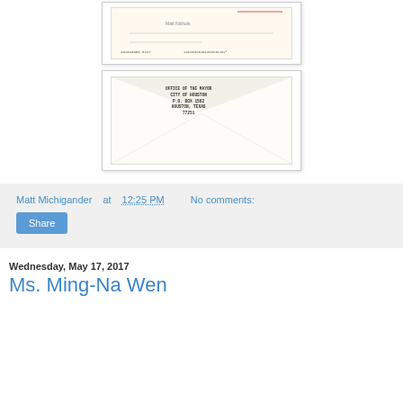[Figure (photo): Scanned check document with routing numbers at bottom]
[Figure (photo): Envelope from Office of the Mayor, City of Houston, P.O. Box 1562, Houston, Texas 77251]
Matt Michigander at 12:25 PM    No comments:
Share
Wednesday, May 17, 2017
Ms. Ming-Na Wen